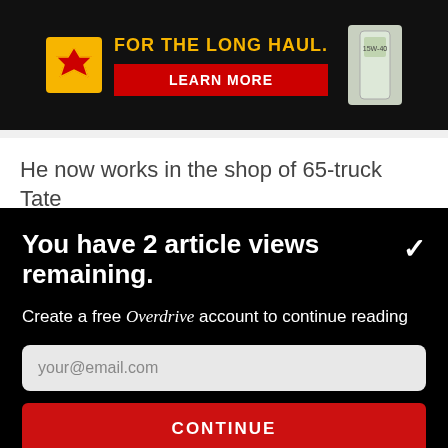[Figure (photo): Shell lubricants advertisement banner with yellow Shell logo, text 'FOR THE LONG HAUL.' in gold on dark background, and a red 'LEARN MORE' button]
He now works in the shop of 65-truck Tate Transportation, headquartered in Walla Walla (W...
You have 2 article views remaining.
Create a free Overdrive account to continue reading
your@email.com
CONTINUE